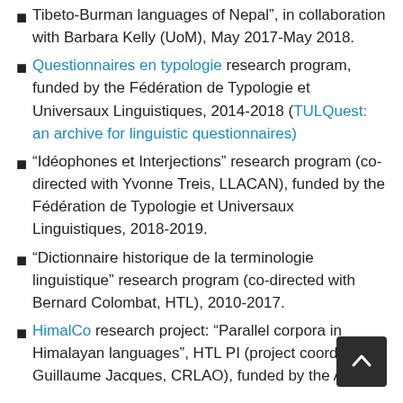Tibeto-Burman languages of Nepal", in collaboration with Barbara Kelly (UoM), May 2017-May 2018.
Questionnaires en typologie research program, funded by the Fédération de Typologie et Universaux Linguistiques, 2014-2018 (TULQuest: an archive for linguistic questionnaires)
“Idéophones et Interjections” research program (co-directed with Yvonne Treis, LLACAN), funded by the Fédération de Typologie et Universaux Linguistiques, 2018-2019.
“Dictionnaire historique de la terminologie linguistique” research program (co-directed with Bernard Colombat, HTL), 2010-2017.
HimalCo research project: “Parallel corpora in Himalayan languages”, HTL PI (project coordinator Guillaume Jacques, CRLAO), funded by the ANR